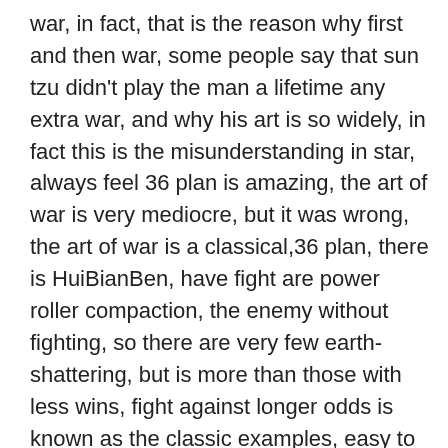war, in fact, that is the reason why first and then war, some people say that sun tzu didn't play the man a lifetime any extra war, and why his art is so widely, in fact this is the misunderstanding in star, always feel 36 plan is amazing, the art of war is very mediocre, but it was wrong, the art of war is a classical,36 plan, there is HuiBianBen, have fight are power roller compaction, the enemy without fighting, so there are very few earth-shattering, but is more than those with less wins, fight against longer odds is known as the classic examples, easy to remember, but these are actually accidental factors, you let han xin fight 10 times, he may win the time,So the power of the mind, this thing, should not be overused.A general will have 1 or 2 times of risk, it is not possible to fight this time, every time rely on the mental strength of the weak to defeat the strong, that will die quickly.So finally, back to the investment and our work, it is necessary to learn the fighting spirit of women's football and never give up, but do not think that only the